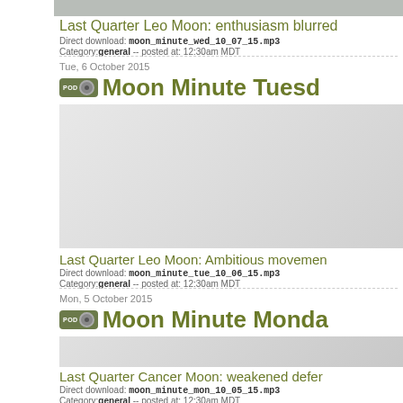[Figure (screenshot): Top image strip showing partial podcast icon/image]
Last Quarter Leo Moon: enthusiasm blurred
Direct download: moon_minute_wed_10_07_15.mp3  Category:general -- posted at: 12:30am MDT
Tue, 6 October 2015
Moon Minute Tuesd...
Last Quarter Leo Moon: Ambitious movemen...
Direct download: moon_minute_tue_10_06_15.mp3  Category:general -- posted at: 12:30am MDT
Mon, 5 October 2015
Moon Minute Monda...
Last Quarter Cancer Moon: weakened defer...
Direct download: moon_minute_mon_10_05_15.mp3  Category:general -- posted at: 12:30am MDT